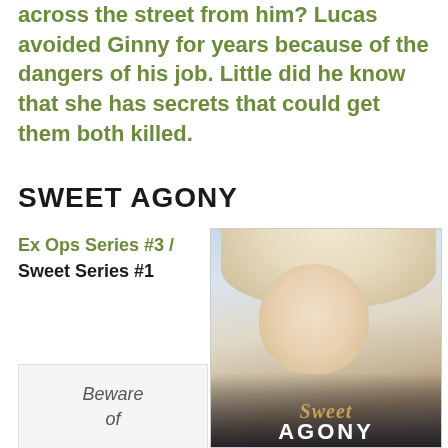across the street from him? Lucas avoided Ginny for years because of the dangers of his job. Little did he know that she has secrets that could get them both killed.
SWEET AGONY
Ex Ops Series #3 / Sweet Series #1
[Figure (photo): Book cover for 'Sweet Agony' showing a blonde woman with blue eyes against a light blue background, with the title 'Sweet Agony' overlaid in gold and white text.]
Beware of